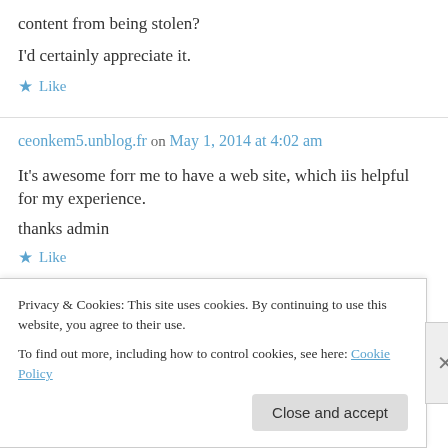content from being stolen?
I'd certainly appreciate it.
Like
ceonkem5.unblog.fr on May 1, 2014 at 4:02 am
It's awesome forr me to have a web site, which iis helpful for my experience.
thanks admin
Like
Privacy & Cookies: This site uses cookies. By continuing to use this website, you agree to their use.
To find out more, including how to control cookies, see here: Cookie Policy
Close and accept